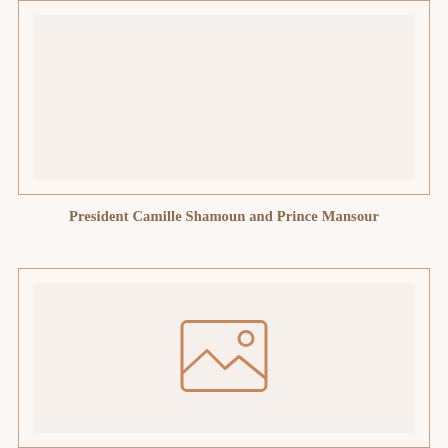[Figure (photo): Top photo placeholder - image of President Camille Shamoun and Prince Mansour]
President Camille Shamoun and Prince Mansour
[Figure (photo): Bottom photo placeholder - image content not visible, shown as placeholder icon]